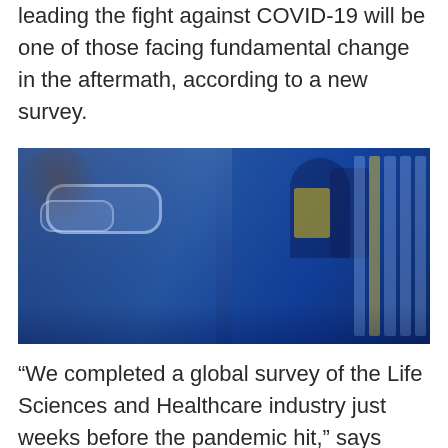leading the fight against COVID-19 will be one of those facing fundamental change in the aftermath, according to a new survey.
[Figure (photo): Two scientists in safety goggles working in a laboratory, with blue tinted lighting. One woman in foreground, one person in background looking into a microscope, surrounded by lab equipment and test tubes.]
“We completed a global survey of the Life Sciences and Healthcare industry just weeks before the pandemic hit,” says team leader Eric